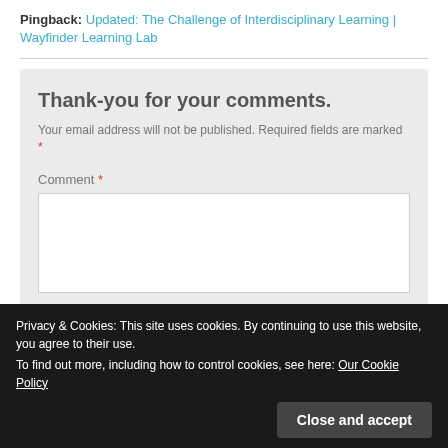Pingback: Updated: The Challenge of Interdisciplinary Learning | Wayfinder Learning Lab
Thank-you for your comments.
Your email address will not be published. Required fields are marked *
Comment *
Privacy & Cookies: This site uses cookies. By continuing to use this website, you agree to their use.
To find out more, including how to control cookies, see here: Our Cookie Policy
Close and accept